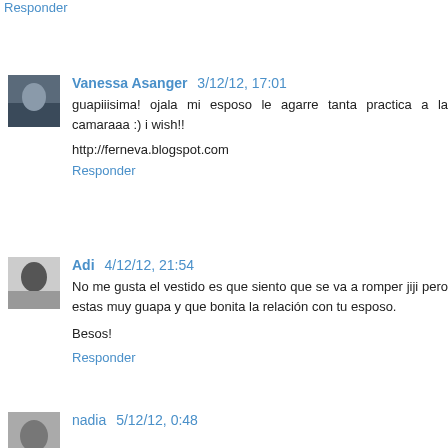Responder
Vanessa Asanger 3/12/12, 17:01
guapiiisima! ojala mi esposo le agarre tanta practica a la camaraaa :) i wish!!

http://ferneva.blogspot.com

Responder
Adi 4/12/12, 21:54
No me gusta el vestido es que siento que se va a romper jiji pero estas muy guapa y que bonita la relación con tu esposo.

Besos!

Responder
nadia 5/12/12, 0:48